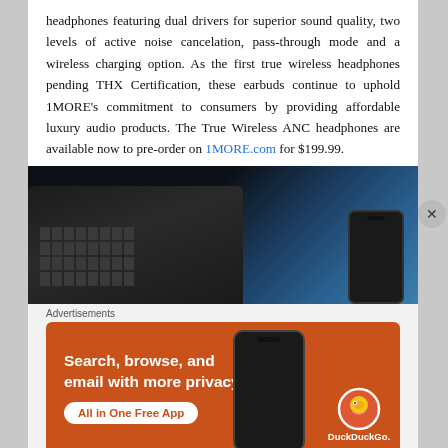headphones featuring dual drivers for superior sound quality, two levels of active noise cancelation, pass-through mode and a wireless charging option. As the first true wireless headphones pending THX Certification, these earbuds continue to uphold 1MORE's commitment to consumers by providing affordable luxury audio products. The True Wireless ANC headphones are available now to pre-order on 1MORE.com for $199.99.
[Figure (photo): Dark photo of a laptop keyboard and smartphone on a blue-lit background]
Advertisements
[Figure (photo): DuckDuckGo advertisement banner with orange background. Text reads: Search, browse, and email with more privacy. All in One Free App. DuckDuckGo logo shown on right side.]